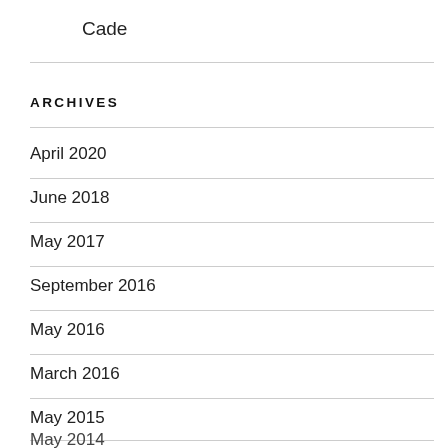Cade
ARCHIVES
April 2020
June 2018
May 2017
September 2016
May 2016
March 2016
May 2015
May 2014